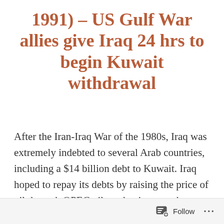1991) – US Gulf War allies give Iraq 24 hrs to begin Kuwait withdrawal
After the Iran-Iraq War of the 1980s, Iraq was extremely indebted to several Arab countries, including a $14 billion debt to Kuwait. Iraq hoped to repay its debts by raising the price of oil through OPEC oil production cuts, but instead, Kuwait increased production, lowering prices, in an attempt to leverage a better resolution of their border dispute. In addition, greatly antagonizing Iraq, Kuwait had taken advantage of the Iran-Iraq War and had begun illegal slant
Follow ···